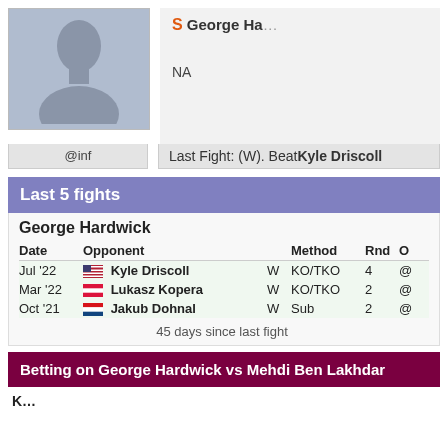[Figure (photo): Gray placeholder silhouette profile photo]
S George Ha...
NA
@inf
Last Fight: (W). Beat Kyle Driscoll
Last 5 fights
George Hardwick
| Date | Opponent |  | Method | Rnd | O |
| --- | --- | --- | --- | --- | --- |
| Jul '22 | Kyle Driscoll | W | KO/TKO | 4 | @ |
| Mar '22 | Lukasz Kopera | W | KO/TKO | 2 | @ |
| Oct '21 | Jakub Dohnal | W | Sub | 2 | @ |
|  | 45 days since last fight |  |  |  |  |
Betting on George Hardwick vs Mehdi Ben Lakhdar
K...